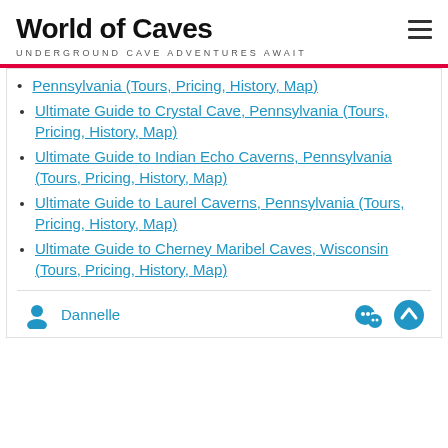World of Caves
UNDERGROUND CAVE ADVENTURES AWAIT
Pennsylvania (Tours, Pricing, History, Map)
Ultimate Guide to Crystal Cave, Pennsylvania (Tours, Pricing, History, Map)
Ultimate Guide to Indian Echo Caverns, Pennsylvania (Tours, Pricing, History, Map)
Ultimate Guide to Laurel Caverns, Pennsylvania (Tours, Pricing, History, Map)
Ultimate Guide to Cherney Maribel Caves, Wisconsin (Tours, Pricing, History, Map)
Dannelle